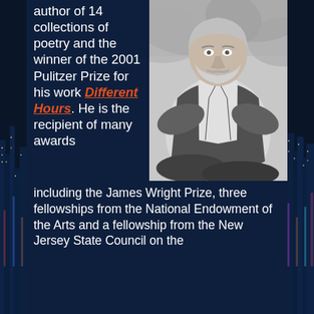author of 14 collections of poetry and the winner of the 2001 Pulitzer Prize for his work Different Hours. He is the recipient of many awards including the James Wright Prize, three fellowships from the National Endowment of the Arts and a fellowship from the New Jersey State Council on the
[Figure (photo): Black and white portrait photograph of an older bearded man seated in a relaxed pose wearing a vest over a white shirt, appearing to be outdoors with foliage in the background.]